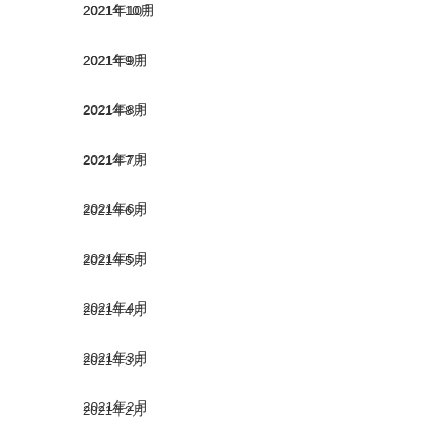2021年10月
2021年9月
2021年8月
2021年7月
2021年6月
2021年5月
2021年4月
2021年3月
2021年2月
2021年1月
2020年12月
2020年11月
2020年10月
2020年9月
2020年8月
2020年7月
2020年6月
2020年5月
2020年4月
2020年3月
2020年2月
2020年1月